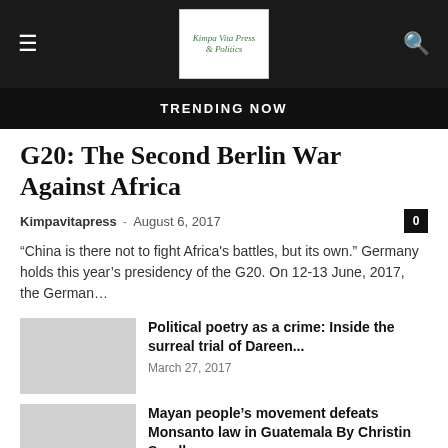TRENDING NOW
G20: The Second Berlin War Against Africa
Kimpavitapress - August 6, 2017
“China is there not to fight Africa’s battles, but its own.” Germany holds this year’s presidency of the G20. On 12-13 June, 2017, the German…
Political poetry as a crime: Inside the surreal trial of Dareen...
March 27, 2017
Mayan people’s movement defeats Monsanto law in Guatemala By Christin Sandberg
September 25, 2014